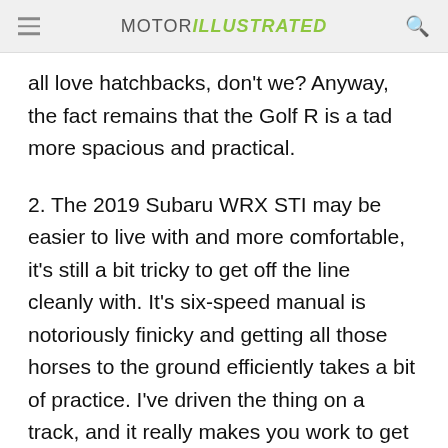MOTOR ILLUSTRATED
all love hatchbacks, don't we? Anyway, the fact remains that the Golf R is a tad more spacious and practical.
2. The 2019 Subaru WRX STI may be easier to live with and more comfortable, it's still a bit tricky to get off the line cleanly with. It's six-speed manual is notoriously finicky and getting all those horses to the ground efficiently takes a bit of practice. I've driven the thing on a track, and it really makes you work to get to the heart of what its engine and chassis can actually do.
3. The interior could do with a thorough overhaul